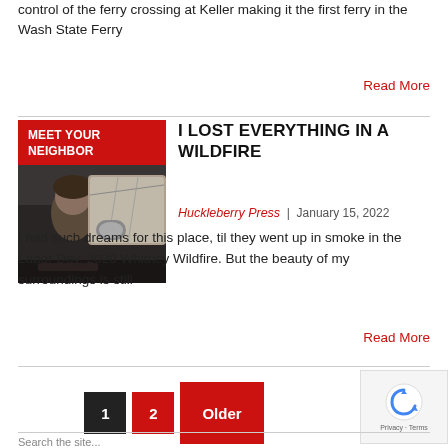control of the ferry crossing at Keller making it the first ferry in the Wash State Ferry
Read More
I LOST EVERYTHING IN A WILDFIRE
Huckleberry Press | January 15, 2022
[Figure (photo): Person photographed from inside a vehicle, with fire or smoke damage visible through windows; overlaid with red banner reading MEET YOUR NEIGHBOR]
I had such dreams for this place, til they went up in smoke in the Labor Day, 2020 Whitney Wildfire. But the beauty of my surroundings is still
Read More
1  2  Older